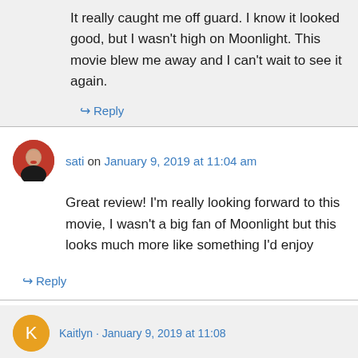It really caught me off guard. I know it looked good, but I wasn't high on Moonlight. This movie blew me away and I can't wait to see it again.
↪ Reply
sati on January 9, 2019 at 11:04 am
Great review! I'm really looking forward to this movie, I wasn't a big fan of Moonlight but this looks much more like something I'd enjoy
↪ Reply